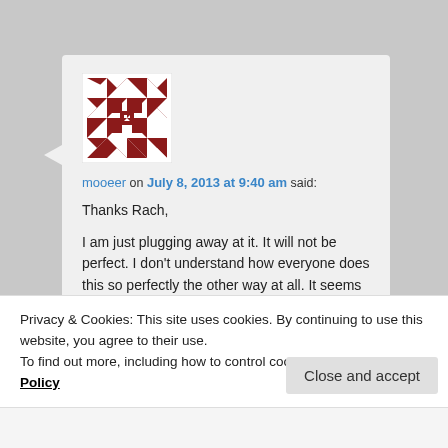[Figure (illustration): Quilt-pattern avatar icon with dark red/maroon geometric triangles and squares on white background]
mooeer on July 8, 2013 at 9:40 am said:
Thanks Rach,

I am just plugging away at it. It will not be perfect. I don't understand how everyone does this so perfectly the other way at all. It seems impossible to get everything to line up really well either way.
Privacy & Cookies: This site uses cookies. By continuing to use this website, you agree to their use.
To find out more, including how to control cookies, see here: Cookie Policy
Close and accept